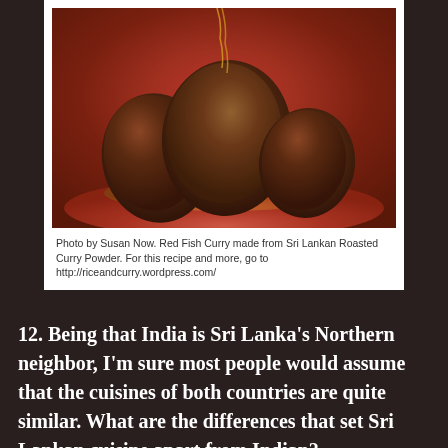[Figure (photo): Photo of Red Fish Curry made from Sri Lankan Roasted Curry Powder, served on a plate with sauce]
Photo by Susan Now. Red Fish Curry made from Sri Lankan Roasted Curry Powder. For this recipe and more, go to http://riceandcurry.wordpress.com/
12. Being that India is Sri Lanka's Northern neighbor, I'm sure most people would assume that the cuisines of both countries are quite similar. What are the differences that set Sri Lankan cuisine apart from Indian?